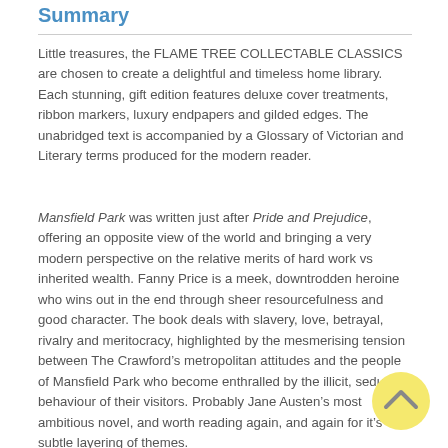Summary
Little treasures, the FLAME TREE COLLECTABLE CLASSICS are chosen to create a delightful and timeless home library. Each stunning, gift edition features deluxe cover treatments, ribbon markers, luxury endpapers and gilded edges. The unabridged text is accompanied by a Glossary of Victorian and Literary terms produced for the modern reader.
Mansfield Park was written just after Pride and Prejudice, offering an opposite view of the world and bringing a very modern perspective on the relative merits of hard work vs inherited wealth. Fanny Price is a meek, downtrodden heroine who wins out in the end through sheer resourcefulness and good character. The book deals with slavery, love, betrayal, rivalry and meritocracy, highlighted by the mesmerising tension between The Crawford’s metropolitan attitudes and the people of Mansfield Park who become enthralled by the illicit, seductive behaviour of their visitors. Probably Jane Austen’s most ambitious novel, and worth reading again, and again for it’s subtle layering of themes.
[Figure (other): Yellow circular scroll-to-top button with upward chevron arrow]